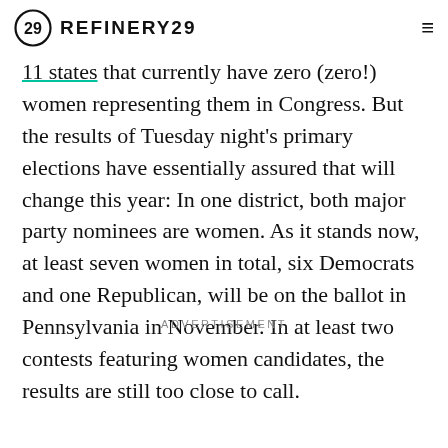REFINERY29
11 states that currently have zero (zero!) women representing them in Congress. But the results of Tuesday night's primary elections have essentially assured that will change this year: In one district, both major party nominees are women. As it stands now, at least seven women in total, six Democrats and one Republican, will be on the ballot in Pennsylvania in November. In at least two contests featuring women candidates, the results are still too close to call.
ADVERTISEMENT